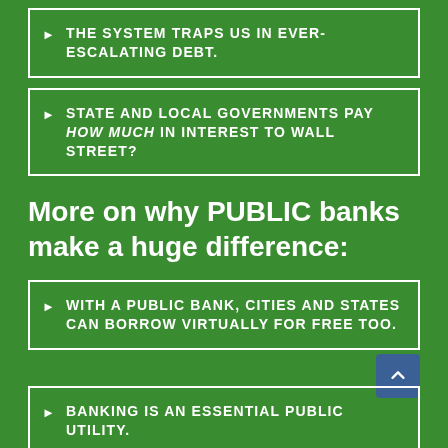THE SYSTEM TRAPS US IN EVER-ESCALATING DEBT.
STATE AND LOCAL GOVERNMENTS PAY HOW MUCH IN INTEREST TO WALL STREET?
More on why PUBLIC banks make a huge difference:
WITH A PUBLIC BANK, CITIES AND STATES CAN BORROW VIRTUALLY FOR FREE TOO.
BANKING IS AN ESSENTIAL PUBLIC UTILITY.